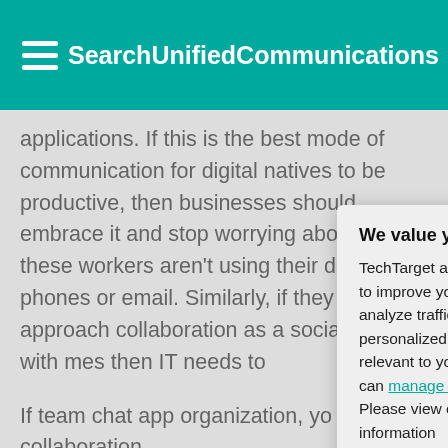SearchUnifiedCommunications
applications. If this is the best mode of communication for digital natives to be productive, then businesses should embrace it and stop worrying about how these workers aren't using their desk phones or email. Similarly, if they approach collaboration as a social activity with mes then IT needs to
If team chat app organization, yo of collaboration.
Digital natives al applications. The employees will s support their not
We value your privacy. TechTarget and its partners employ cookies to improve your experience on our site, to analyze traffic and performance, and to serve personalized content and advertising that are relevant to your professional interests. You can manage your settings at any time. Please view our Privacy Policy for more information
OK
Settings